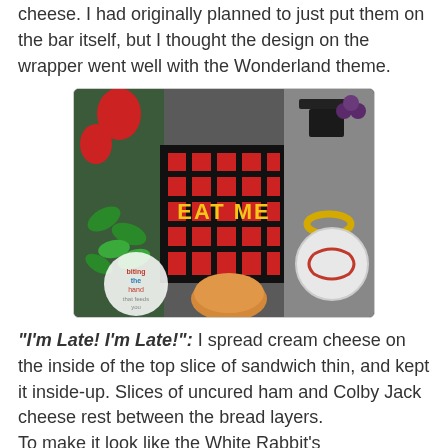cheese. I had originally planned to just put them on the bar itself, but I thought the design on the wrapper went well with the Wonderland theme.
[Figure (photo): A bento/lunch box tray with an 'EAT ME' labeled wrapper on a red and black plaid bar, surrounded by strawberries, green leaf decorations, grapes, a ring pick, a dot pick, and what appears to be a pocketwatch-shaped sandwich. There is a 'biting the hand that feeds you' watermark logo in the lower left.]
"I'm Late! I'm Late!": I spread cream cheese on the inside of the top slice of sandwich thin, and kept it inside-up. Slices of uncured ham and Colby Jack cheese rest between the bread layers.
To make it look like the White Rabbit's pocketwatch, I stuck a ring pick in the top and a matching dot pick on the right side, to look like that thing you twist to wind it.
I used mini number cutters to cut the numbers from some Betty Crocker Simply fruit roll-up (all-natural thin fruit